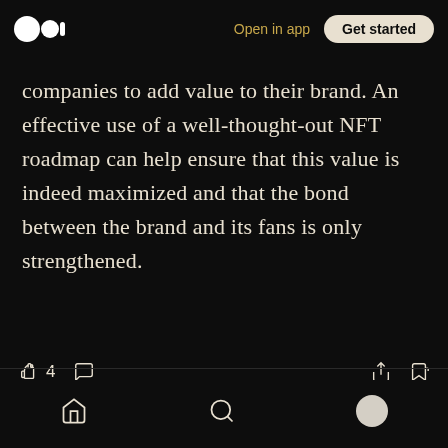Medium logo | Open in app | Get started
companies to add value to their brand. An effective use of a well-thought-out NFT roadmap can help ensure that this value is indeed maximized and that the bond between the brand and its fans is only strengthened.
[Figure (screenshot): Article reaction bar with clap icon showing 4 claps, comment icon, share icon, and bookmark icon]
[Figure (screenshot): Floating pill button with clap icon, 4 count, divider, and comment icon]
Bottom navigation bar with home, search, and profile icons